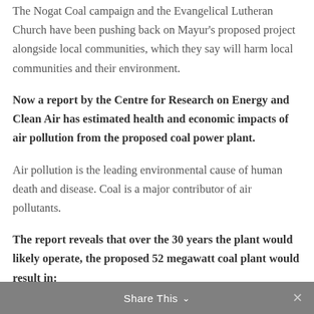The Nogat Coal campaign and the Evangelical Lutheran Church have been pushing back on Mayur's proposed project alongside local communities, which they say will harm local communities and their environment.
Now a report by the Centre for Research on Energy and Clean Air has estimated health and economic impacts of air pollution from the proposed coal power plant.
Air pollution is the leading environmental cause of human death and disease. Coal is a major contributor of air pollutants.
The report reveals that over the 30 years the plant would likely operate, the proposed 52 megawatt coal plant would result in:
Share This